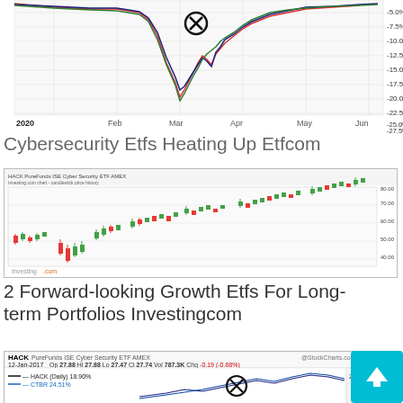[Figure (continuous-plot): Line chart showing multiple ETF performance metrics from 2020 through June 2020, with y-axis ranging from -5.0% to -27.5%. Multiple colored lines (red, dark blue, green) showing drawdown/return percentages. A circled X marker is visible near April. X-axis shows months: 2020, Feb, Mar, Apr, May, Jun.]
Cybersecurity Etfs Heating Up Etfcom
[Figure (continuous-plot): Candlestick chart from Investing.com showing a stock/ETF price history. Green and red candles showing an upward trend over the period displayed (from approximately 2015 to 2019). The price rises from roughly 40 to over 80 on the y-axis.]
2 Forward-looking Growth Etfs For Long-term Portfolios Investingcom
[Figure (continuous-plot): Partial stock chart from StockCharts.com for HACK PureFunds ISE Cyber Security ETF AMEX. Date: 12-Jan-2017. Op 27.88, Hi 27.88, Lo 27.47, Cl 27.74, Vol 787.3K, Chg -0.19 (-0.68%). Shows HACK Daily 18.90% and CTBR 24.51% lines. A circled X is visible on the chart.]